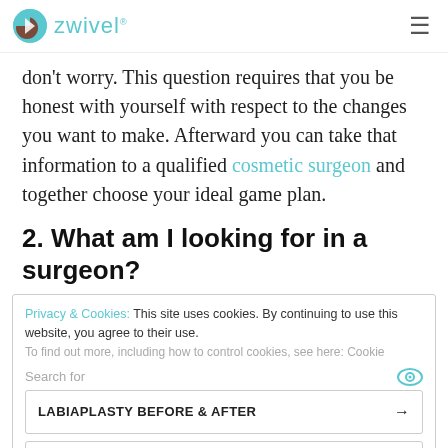zwivel
don't worry. This question requires that you be honest with yourself with respect to the changes you want to make. Afterward you can take that information to a qualified cosmetic surgeon and together choose your ideal game plan.
2. What am I looking for in a surgeon?
Privacy & Cookies: This site uses cookies. By continuing to use this website, you agree to their use.
To find out more, including how to control cookies, see here: Cookie
Search for
LABIAPLASTY BEFORE & AFTER
LIST OF PLASTIC SURGEONS